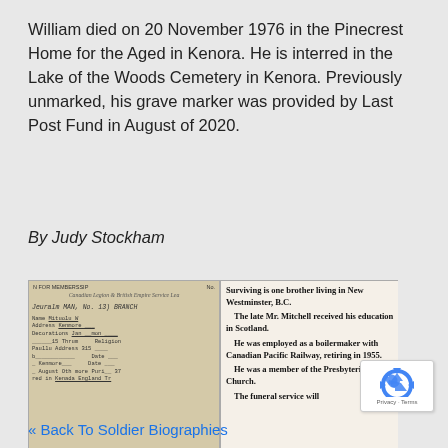William died on 20 November 1976 in the Pinecrest Home for the Aged in Kenora. He is interred in the Lake of the Woods Cemetery in Kenora. Previously unmarked, his grave marker was provided by Last Post Fund in August of 2020.
By Judy Stockham
[Figure (photo): Two historical documents side by side. Left: A handwritten membership form for the Canadian Legion & British Empire Service League with handwritten entries. Right: A newspaper clipping with text about Mr. Mitchell - surviving brother in New Westminster B.C., his education in Scotland, employment as a boilermaker with Canadian Pacific Railway retiring in 1955, and membership in Presbyterian Church.]
[Figure (logo): Google reCAPTCHA badge with recycling-arrow icon and Privacy and Terms links]
« Back To Soldier Biographies